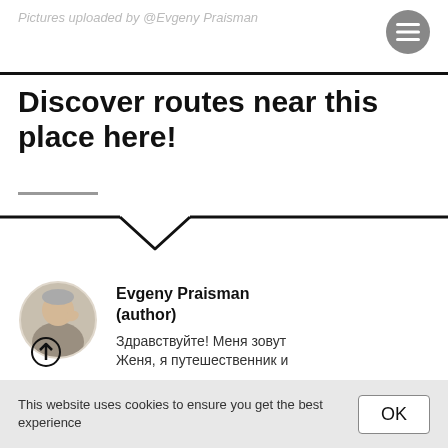Pictures uploaded by @Evgeny Praisman
Discover routes near this place here!
[Figure (photo): Circular author profile photo of a middle-aged man with grey hair, with an upward arrow icon overlaid at the bottom]
Evgeny Praisman (author)
Здравствуйте! Меня зовут Женя, я путешественник и
This website uses cookies to ensure you get the best experience